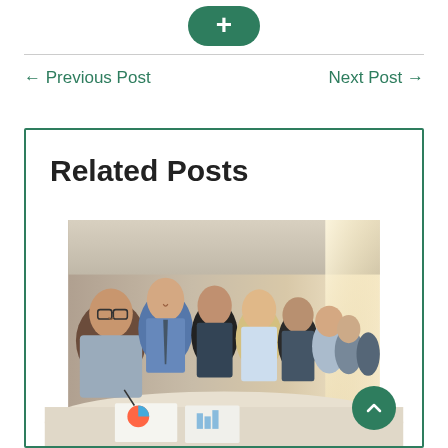[Figure (other): Green rounded button with white plus sign]
← Previous Post
Next Post →
Related Posts
[Figure (photo): Group of diverse business professionals sitting at a long white table, smiling at camera in a bright office environment]